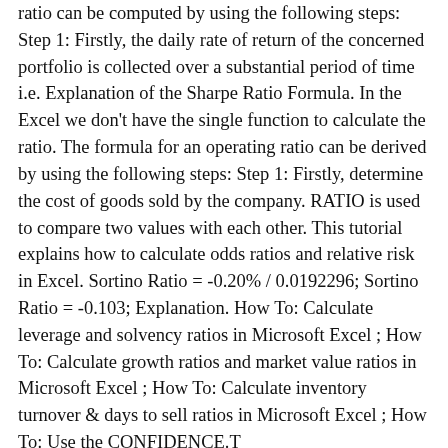ratio can be computed by using the following steps: Step 1: Firstly, the daily rate of return of the concerned portfolio is collected over a substantial period of time i.e. Explanation of the Sharpe Ratio Formula. In the Excel we don't have the single function to calculate the ratio. The formula for an operating ratio can be derived by using the following steps: Step 1: Firstly, determine the cost of goods sold by the company. RATIO is used to compare two values with each other. This tutorial explains how to calculate odds ratios and relative risk in Excel. Sortino Ratio = -0.20% / 0.0192296; Sortino Ratio = -0.103; Explanation. How To: Calculate leverage and solvency ratios in Microsoft Excel ; How To: Calculate growth ratios and market value ratios in Microsoft Excel ; How To: Calculate inventory turnover & days to sell ratios in Microsoft Excel ; How To: Use the CONFIDENCE.T